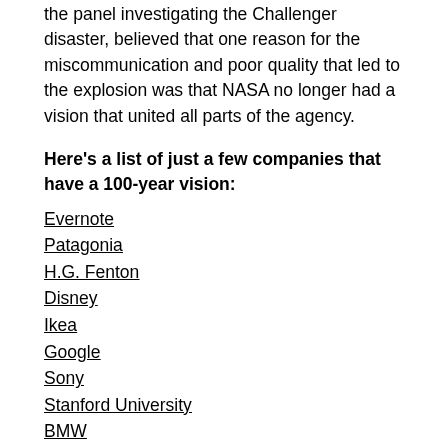the panel investigating the Challenger disaster, believed that one reason for the miscommunication and poor quality that led to the explosion was that NASA no longer had a vision that united all parts of the agency.
Here's a list of just a few companies that have a 100-year vision:
Evernote
Patagonia
H.G. Fenton
Disney
Ikea
Google
Sony
Stanford University
BMW
Steelcase